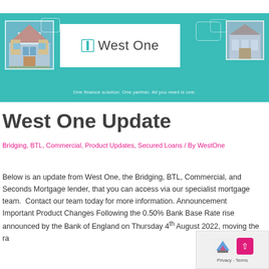[Figure (illustration): West One company banner with teal background, house photo on left, West One logo in white box center, building photo on right, tagline: One finance solution. One partner. All you need is one.]
West One Update
Bridging, BTL, Commercial, Product Updates, Secured Loans / By WestOne
Below is an update from West One, the Bridging, BTL, Commercial, and Seconds Mortgage lender, that you can access via our specialist mortgage team. Contact our team today for more information. Announcement Important Product Changes Following the 0.50% Bank Base Rate rise announced by the Bank of England on Thursday 4th August 2022, moving the ra